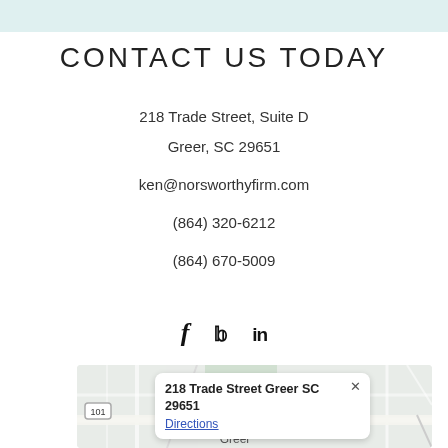CONTACT US TODAY
218 Trade Street,  Suite D
Greer, SC 29651
ken@norsworthyfirm.com
(864) 320-6212
(864) 670-5009
[Figure (other): Social media icons: Facebook (f), Twitter (bird), LinkedIn (in)]
[Figure (other): Google Maps screenshot showing location at 218 Trade Street Greer SC 29651 with popup showing address and Directions link, route 101 badge visible, Greer label at bottom]